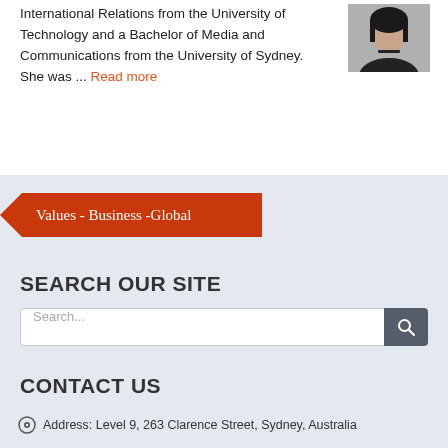International Relations from the University of Technology and a Bachelor of Media and Communications from the University of Sydney. She was ... Read more
[Figure (photo): Headshot photo of a woman with dark hair wearing a dark top with a choker necklace]
[Figure (infographic): Orange/red banner tag with text: Values - Business -Global]
SEARCH OUR SITE
Search...
CONTACT US
Address: Level 9, 263 Clarence Street, Sydney, Australia